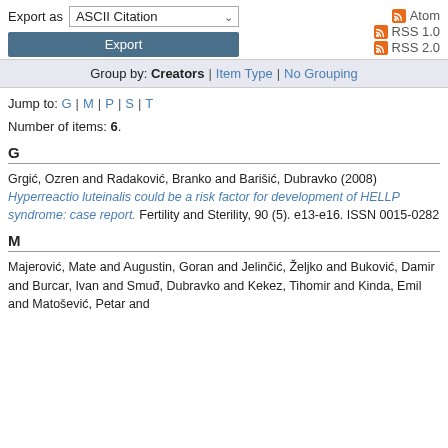Export as ASCII Citation [dropdown] | Atom | RSS 1.0 | RSS 2.0
Group by: Creators | Item Type | No Grouping
Jump to: G | M | P | S | T
Number of items: 6.
G
Grgić, Ozren and Radaković, Branko and Barišić, Dubravko (2008) Hyperreactio luteinalis could be a risk factor for development of HELLP syndrome: case report. Fertility and Sterility, 90 (5). e13-e16. ISSN 0015-0282
M
Majerović, Mate and Augustin, Goran and Jelinčić, Željko and Buković, Damir and Burcar, Ivan and Smuđ, Dubravko and Kekez, Tihomir and Kinda, Emil and Matošević, Petar and